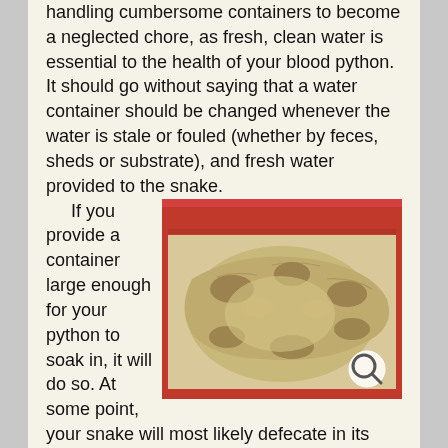handling cumbersome containers to become a neglected chore, as fresh, clean water is essential to the health of your blood python. It should go without saying that a water container should be changed whenever the water is stale or fouled (whether by feces, sheds or substrate), and fresh water provided to the snake.
If you provide a container large enough for your python to soak in, it will do so. At some point, your snake will most likely defecate in its water bowl and may shed its skin in the water as well. Additionally, full water containers plus large, heavy blood pythons can easily equal displaced water swamping your snake's enclosure. While using awater2th smaller water container won't completely eliminate any of the above from happening, it will reduce the odds. Is this something
[Figure (photo): A blood python (large snake with light tan/beige scales and brown patterns) coiled inside a red plastic container/tub, viewed from above. A magnifying glass icon appears in the bottom right corner of the image.]